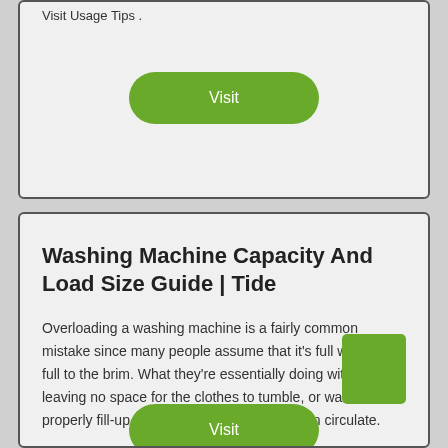Visit Usage Tips .
Visit
Washing Machine Capacity And Load Size Guide | Tide
Overloading a washing machine is a fairly common mistake since many people assume that it's full when it's full to the brim. What they're essentially doing with this is leaving no space for the clothes to tumble, or water to properly fill-up the drum so the detergent can circulate.
Visit